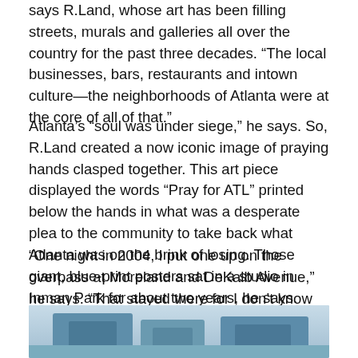says R.Land, whose art has been filling streets, murals and galleries all over the country for the past three decades. “The local businesses, bars, restaurants and intown culture—the neighborhoods of Atlanta were at the core of all of that.”
Atlanta’s “soul was under siege,” he says. So, R.Land created a now iconic image of praying hands clasped together. This art piece displayed the words “Pray for ATL” printed below the hands in what was a desperate plea to the community to take back what Atlanta was on the brink of losing. Those giant, blue-print posters sat in a studio in Inman Park for about two years, he says.
“One night in 2004, I put one up on the overpass at Moreland and DeKalb Avenue,” he says. “That stayed there for I don’t know how many years. It kind of became a viral thing in its own right after that.”
[Figure (photo): Partial photograph of a building exterior or street scene, cropped at the bottom of the page, showing a blue-toned image.]